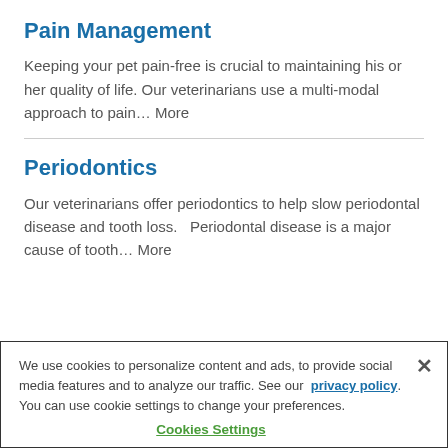Pain Management
Keeping your pet pain-free is crucial to maintaining his or her quality of life. Our veterinarians use a multi-modal approach to pain… More
Periodontics
Our veterinarians offer periodontics to help slow periodontal disease and tooth loss.   Periodontal disease is a major cause of tooth… More
We use cookies to personalize content and ads, to provide social media features and to analyze our traffic. See our privacy policy. You can use cookie settings to change your preferences.
Cookies Settings